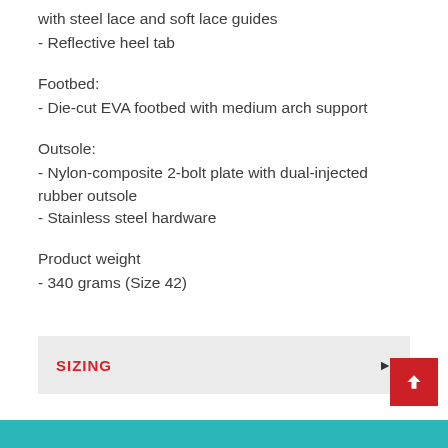with steel lace and soft lace guides
- Reflective heel tab
Footbed:
- Die-cut EVA footbed with medium arch support
Outsole:
- Nylon-composite 2-bolt plate with dual-injected rubber outsole
- Stainless steel hardware
Product weight
- 340 grams (Size 42)
SIZING